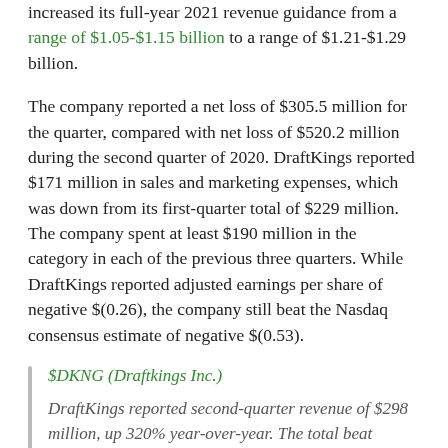increased its full-year 2021 revenue guidance from a range of $1.05-$1.15 billion to a range of $1.21-$1.29 billion.
The company reported a net loss of $305.5 million for the quarter, compared with net loss of $520.2 million during the second quarter of 2020. DraftKings reported $171 million in sales and marketing expenses, which was down from its first-quarter total of $229 million. The company spent at least $190 million in the category in each of the previous three quarters. While DraftKings reported adjusted earnings per share of negative $(0.26), the company still beat the Nasdaq consensus estimate of negative $(0.53).
$DKNG (Draftkings Inc.)
DraftKings reported second-quarter revenue of $298 million, up 320% year-over-year. The total beat analyst estimates of $242.4 million. In the second quarter, DraftKings had 1.1 million mo...